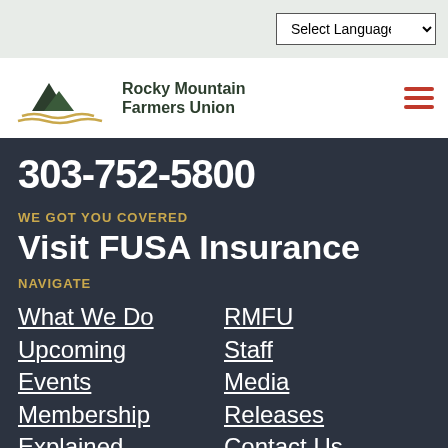Select Language
[Figure (logo): Rocky Mountain Farmers Union logo with mountain and wave graphic]
303-752-5800
WE GOT YOU COVERED
Visit FUSA Insurance
NAVIGATE
What We Do
RMFU
Upcoming Events
Staff
Media Releases
Membership Explained
Contact Us